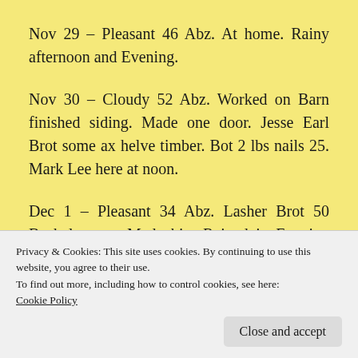Nov 29 – Pleasant 46 Abz. At home. Rainy afternoon and Evening.
Nov 30 – Cloudy 52 Abz. Worked on Barn finished siding. Made one door. Jesse Earl Brot some ax helve timber. Bot 2 lbs nails 25. Mark Lee here at noon.
Dec 1 – Pleasant 34 Abz. Lasher Brot 50 Bushels corn. Made bin. Rained in Evening warm. Bot 2 lbs rat[?] nails 25 cts one pr hinges 6 6 cts 12 cts
Privacy & Cookies: This site uses cookies. By continuing to use this website, you agree to their use.
To find out more, including how to control cookies, see here:
Cookie Policy
Close and accept